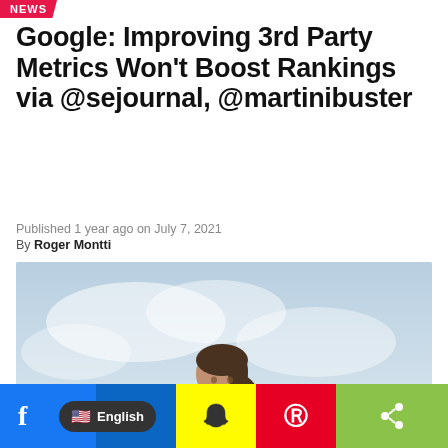NEWS
Google: Improving 3rd Party Metrics Won't Boost Rankings via @sejournal, @martinibuster
Published 1 year ago on July 7, 2021
By Roger Montti
[Figure (photo): A businesswoman in a grey blazer and skirt sitting on a stool playing a violin, against a light sky background.]
Social sharing bar: Facebook, English language selector, LinkedIn, Snapchat, Pinterest, Share